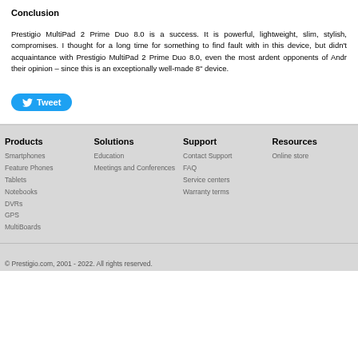Conclusion
Prestigio MultiPad 2 Prime Duo 8.0 is a success. It is powerful, lightweight, slim, stylish, compromises. I thought for a long time for something to find fault with in this device, but didn't acquaintance with Prestigio MultiPad 2 Prime Duo 8.0, even the most ardent opponents of Andr their opinion – since this is an exceptionally well-made 8" device.
[Figure (other): Tweet button]
Products
Smartphones
Feature Phones
Tablets
Notebooks
DVRs
GPS
MultiBoards
Solutions
Education
Meetings and Conferences
Support
Contact Support
FAQ
Service centers
Warranty terms
Resources
Online store
© Prestigio.com, 2001 - 2022. All rights reserved.